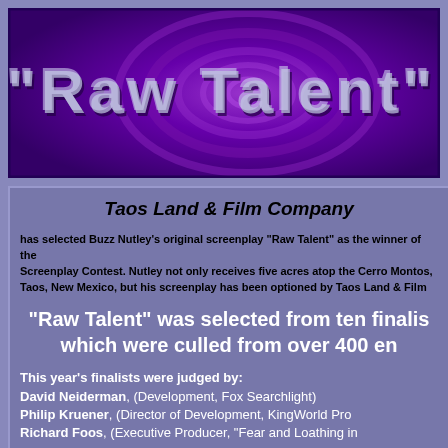[Figure (illustration): Banner graphic with purple swirling background and text 'Raw Talent' in large stylized letters with 3D embossed effect]
Taos Land & Film Company
has selected Buzz Nutley's original screenplay "Raw Talent" as the winner of the Screenplay Contest. Nutley not only receives five acres atop the Cerro Montos, Taos, New Mexico, but his screenplay has been optioned by Taos Land & Film
"Raw Talent" was selected from ten finalists which were culled from over 400 entries
This year's finalists were judged by: David Neiderman, (Development, Fox Searchlight) Philip Kruener, (Director of Development, KingWorld Productions) Richard Foos, (Executive Producer, "Fear and Loathing in